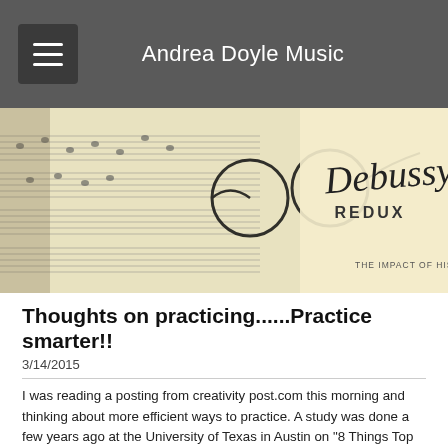Andrea Doyle Music
[Figure (photo): Header image showing sheet music with glasses and a Debussy Redux book, with text 'THE IMPACT OF HIS MUSIC']
Thoughts on practicing......Practice smarter!!
3/14/2015
I was reading a posting from creativity post.com this morning and thinking about more efficient ways to practice.  A study was done a few years ago at the University of Texas in Austin on "8 Things Top Practicers Do Differently".  A group of pianists were given the same piece on which to work, then performed the piece the next day.  The bad news first......the worst practicers found that the more times they played a passage incorrectly, the worse the performance.  The researchers then identified a number of practice strategies that were common among the top pianists; here are some for us to think about:
1.  Playing was hands-together early on in practice (and I might add -